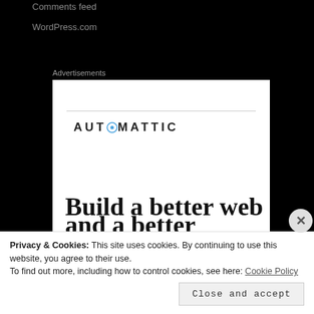Comments feed
WordPress.com
Advertisements
[Figure (logo): Automattic advertisement banner showing the Automattic logo with a circular icon replacing the letter O, a horizontal rule above the logo, and the headline text 'Build a better web' in large serif bold font.]
[Figure (screenshot): A close X button (circle with X) overlapping the top-right of a cookie consent bar.]
Privacy & Cookies: This site uses cookies. By continuing to use this website, you agree to their use.
To find out more, including how to control cookies, see here: Cookie Policy
Close and accept